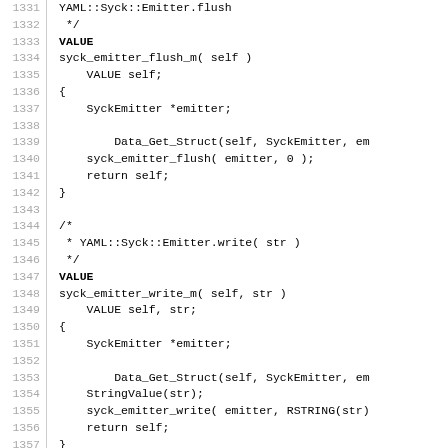Source code listing, lines 1331-1361, C code for YAML::Syck::Emitter Ruby extension